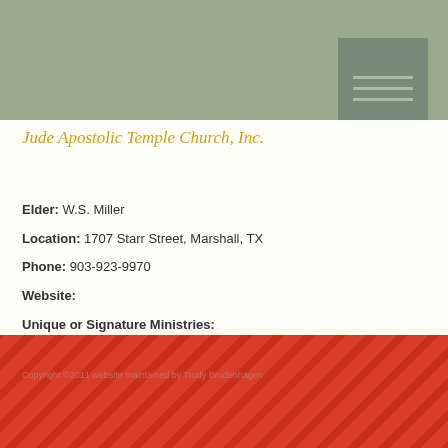Jude Apostolic Temple Church, Inc.
Elder: W.S. Miller
Location: 1707 Starr Street, Marshall, TX
Phone: 903-923-9970
Website:
Unique or Signature Ministries:
Copyright ©2011 website maintained by Trudy Brudenhagen